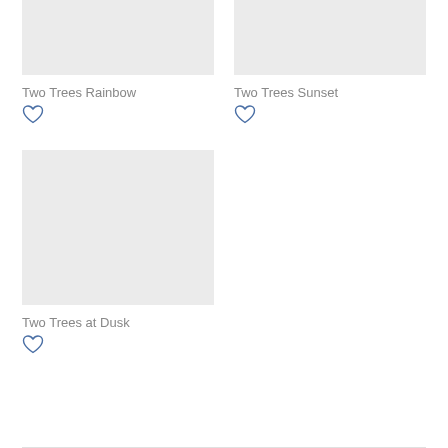[Figure (photo): Gray placeholder thumbnail for Two Trees Rainbow]
Two Trees Rainbow
[Figure (illustration): Heart/like icon (outline) for Two Trees Rainbow]
[Figure (photo): Gray placeholder thumbnail for Two Trees Sunset]
Two Trees Sunset
[Figure (illustration): Heart/like icon (outline) for Two Trees Sunset]
[Figure (photo): Gray placeholder thumbnail for Two Trees at Dusk]
Two Trees at Dusk
[Figure (illustration): Heart/like icon (outline) for Two Trees at Dusk]